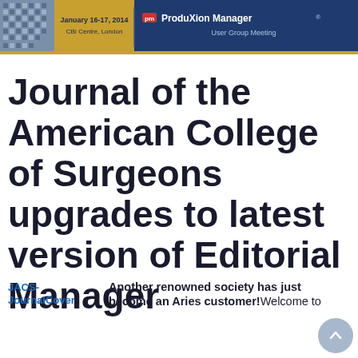[Figure (other): Banner for ProduXion Manager User Group Meeting, January 16-17 2014, CBI Centre, London. Dark blue background with gold border, building image on left and pm ProduXion Manager logo on right.]
Journal of the American College of Surgeons upgrades to latest version of Editorial Manager
[Figure (other): JACS-JournalCover image placeholder link]
Another renowned society has just become an Aries customer! Welcome to